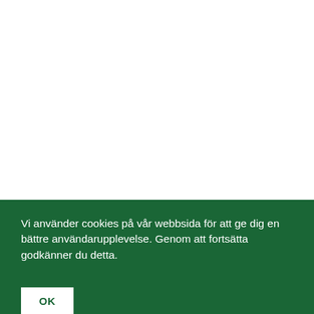Vi använder cookies på vår webbsida för att ge dig en bättre användarupplevelse. Genom att fortsätta godkänner du detta.
OK